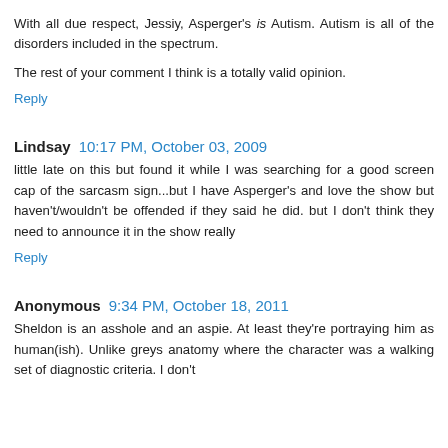With all due respect, Jessiy, Asperger's is Autism. Autism is all of the disorders included in the spectrum.
The rest of your comment I think is a totally valid opinion.
Reply
Lindsay  10:17 PM, October 03, 2009
little late on this but found it while I was searching for a good screen cap of the sarcasm sign...but I have Asperger's and love the show but haven't/wouldn't be offended if they said he did. but I don't think they need to announce it in the show really
Reply
Anonymous  9:34 PM, October 18, 2011
Sheldon is an asshole and an aspie. At least they're portraying him as human(ish). Unlike greys anatomy where the character was a walking set of diagnostic criteria. I don't